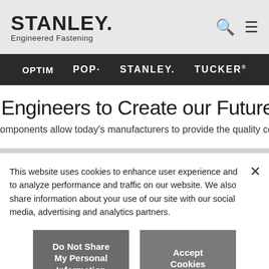[Figure (logo): STANLEY Engineered Fastening logo with search and hamburger menu icons in gray header bar]
[Figure (screenshot): Dark navigation bar with brand logos: OPTIM, POP, STANLEY, TUCKER in white text]
Engineers to Create our Future.
omponents allow today's manufacturers to provide the quality consu
This website uses cookies to enhance user experience and to analyze performance and traffic on our website. We also share information about your use of our site with our social media, advertising and analytics partners.
Do Not Share My Personal Information
Accept Cookies